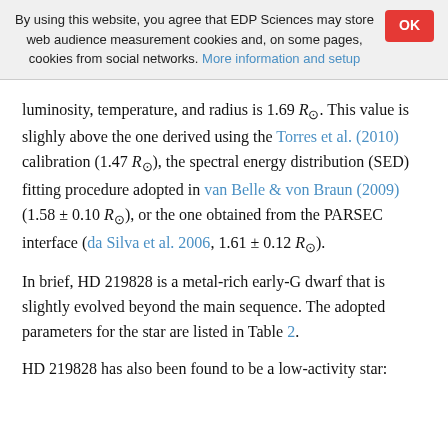By using this website, you agree that EDP Sciences may store web audience measurement cookies and, on some pages, cookies from social networks. More information and setup
luminosity, temperature, and radius is 1.69 R☉. This value is slighly above the one derived using the Torres et al. (2010) calibration (1.47 R☉), the spectral energy distribution (SED) fitting procedure adopted in van Belle & von Braun (2009) (1.58 ± 0.10 R☉), or the one obtained from the PARSEC interface (da Silva et al. 2006, 1.61 ± 0.12 R☉).
In brief, HD 219828 is a metal-rich early-G dwarf that is slightly evolved beyond the main sequence. The adopted parameters for the star are listed in Table 2.
HD 219828 has also been found to be a low-activity star: